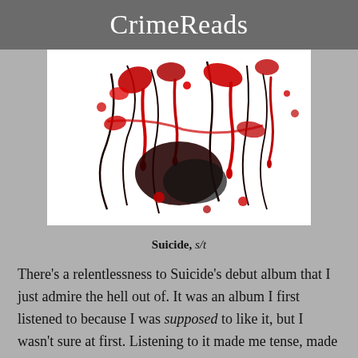CrimeReads
[Figure (illustration): Abstract image of red and black paint splatter resembling blood drips and dark tendrils on a white background — album cover art for Suicide s/t]
Suicide, s/t
There's a relentlessness to Suicide's debut album that I just admire the hell out of. It was an album I first listened to because I was supposed to like it, but I wasn't sure at first. Listening to it made me tense, made me want to escape somewhere else. Eventually, settling into it, I heard something I'd never heard before...